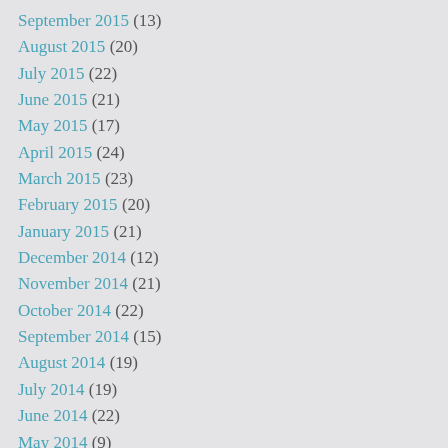September 2015 (13)
August 2015 (20)
July 2015 (22)
June 2015 (21)
May 2015 (17)
April 2015 (24)
March 2015 (23)
February 2015 (20)
January 2015 (21)
December 2014 (12)
November 2014 (21)
October 2014 (22)
September 2014 (15)
August 2014 (19)
July 2014 (19)
June 2014 (22)
May 2014 (9)
April 2014 (9)